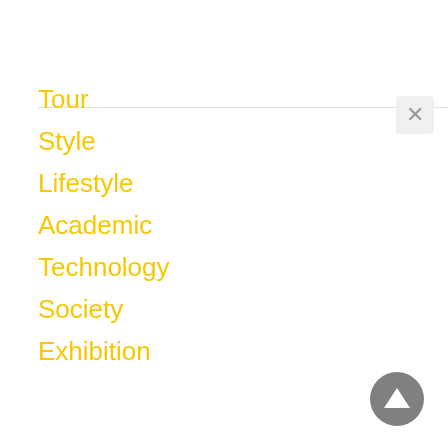Tour
Style
Lifestyle
Academic
Technology
Society
Exhibition
[Figure (other): Close (X) button in grey rounded square, top right area]
[Figure (other): Scroll to top circular button with upward triangle arrow, grey, bottom right corner]